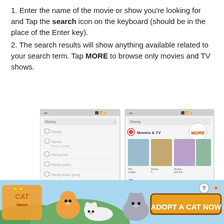1. Enter the name of the movie or show you're looking for and Tap the search icon on the keyboard (should be in the place of the Enter key).
2. The search results will show anything available related to your search term. Tap MORE to browse only movies and TV shows.
[Figure (screenshot): Two mobile app screenshots side by side. Left screenshot shows a search autocomplete list with suggestions. Right screenshot shows search results with a 'Movies & TV' section and a circular 'MORE' button, plus a 'Books' section below.]
[Figure (photo): Advertisement banner for 'Cat Game' showing cartoon cats and the text 'ADOPT A CAT NOW' with a close button.]